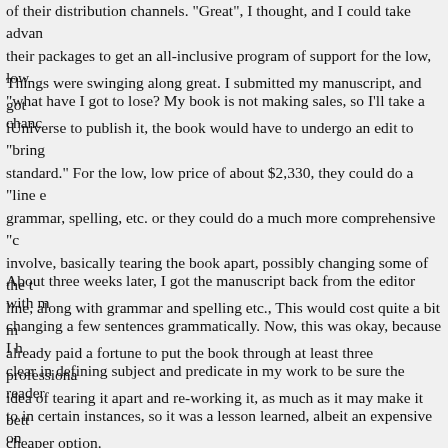of their distribution channels.  "Great", I thought, and I could take advan their packages to get an all-inclusive program of support for the low, low "what have I got to lose?  My book is not making sales, so I'll take a chanc
Things were swinging along great.  I submitted my manuscript, and got iUniverse to publish it, the book would have to undergo an edit to "bring standard."  For the low, low price of about $2,330, they could do a "line e grammar, spelling, etc. or they could do a much more comprehensive "c involve, basically tearing the book apart, possibly changing some of the t line, along with grammar and spelling etc., This would cost quite a bit m already paid a fortune to put the book through at least three profession idea of tearing it apart and re-working it, as much as it may make it bett cheaper option.
About three weeks later, I got the manuscript back from the editor with changing a few sentences grammatically.  Now, this was okay, because I clear in defining subject and predicate in my work to be sure the reader to in certain instances, so it was a lesson learned, albeit an expensive on how to work the g'damn quotation marks, which can be quite challengin suggested edits, (Oh yes, you have to actually make the recommended ch want to pay more for an assistant to make them for you!) I sent the "cle